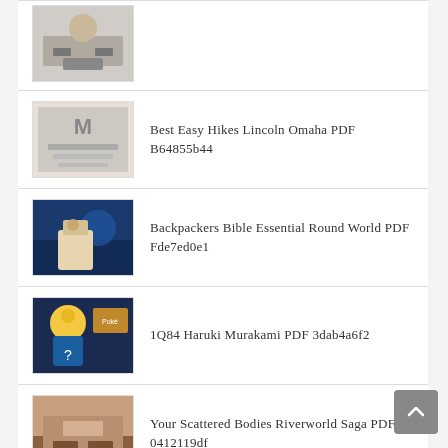(image only entry — partial top)
Best Easy Hikes Lincoln Omaha PDF B64855b44
Backpackers Bible Essential Round World PDF Fde7ed0e1
1Q84 Haruki Murakami PDF 3dab4a6f2
Your Scattered Bodies Riverworld Saga PDF 0412119df
Brown Girl Dreaming Newbery Honor PDF 16b58c07e